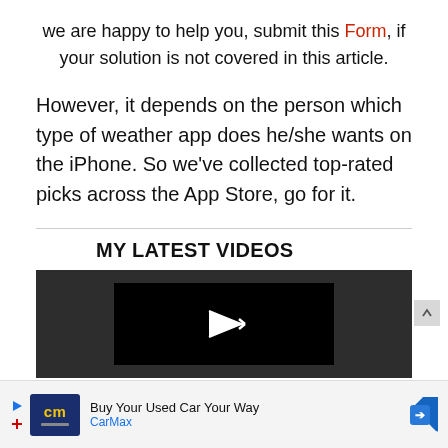we are happy to help you, submit this Form, if your solution is not covered in this article.
However, it depends on the person which type of weather app does he/she wants on the iPhone. So we've collected top-rated picks across the App Store, go for it.
MY LATEST VIDEOS
[Figure (screenshot): Video player with dark background and play button icon]
[Figure (infographic): Advertisement bar: CarMax - Buy Your Used Car Your Way]